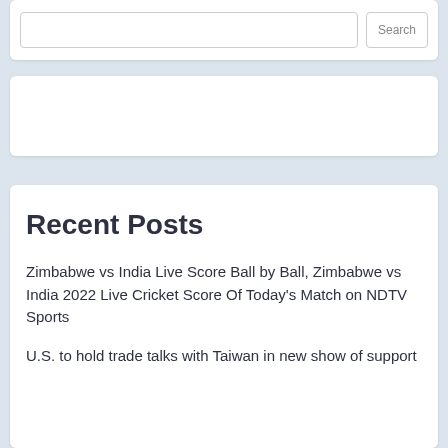[Figure (screenshot): Search input box with Search button]
[Figure (screenshot): Advertisement or widget card placeholder]
Recent Posts
Zimbabwe vs India Live Score Ball by Ball, Zimbabwe vs India 2022 Live Cricket Score Of Today's Match on NDTV Sports
U.S. to hold trade talks with Taiwan in new show of support